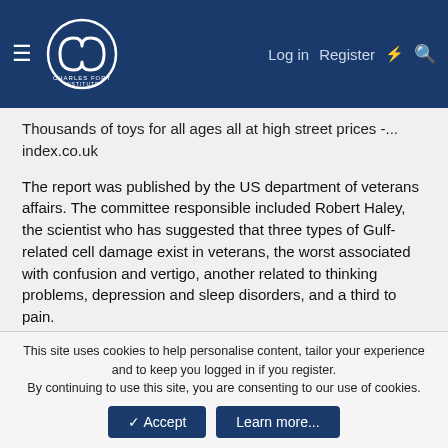Charles Fort Institute — Log in | Register
Thousands of toys for all ages all at high street prices -... index.co.uk
The report was published by the US department of veterans affairs. The committee responsible included Robert Haley, the scientist who has suggested that three types of Gulf-related cell damage exist in veterans, the worst associated with confusion and vertigo, another related to thinking problems, depression and sleep disorders, and a third to pain.
This is not accepted here although there is consideration as to whether some of the 6,000 British veterans who have complained of illness should undergo similar brain scans. The Ministry of Defence insists there is no Gulf war syndrome, and
This site uses cookies to help personalise content, tailor your experience and to keep you logged in if you register.
By continuing to use this site, you are consenting to our use of cookies.